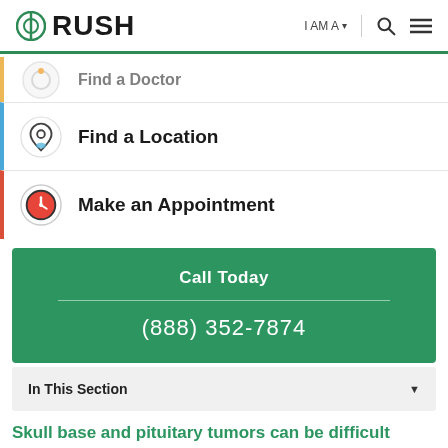RUSH | I AM A | [search] [menu]
Find a Doctor
Find a Location
Make an Appointment
Call Today
(888) 352-7874
In This Section
Skull base and pituitary tumors can be difficult